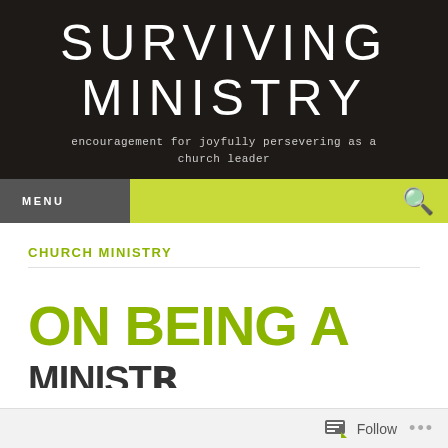SURVIVING MINISTRY
encouragement for joyfully persevering as a church leader
MENU
CHURCH MINISTRY
ON BEING A